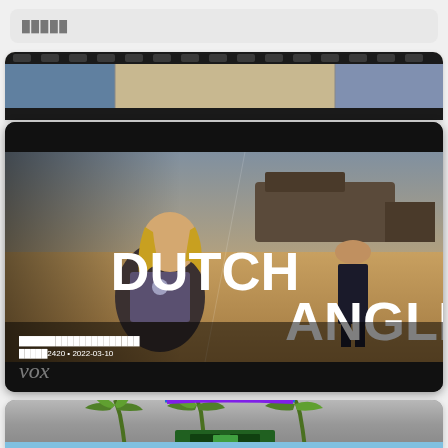█████
[Figure (screenshot): Partial view of a video thumbnail strip at top showing comic/illustrated content]
[Figure (screenshot): Video thumbnail for 'DUTCH ANGLE' video from Vox, showing a film scene with Thor character in desert with large bold white text 'DUTCH ANGLE' overlaid diagonally]
████████████████████
█████2420 • 2022-03-10
[Figure (screenshot): Partial view of another video thumbnail showing cartoon palm trees with rainbow and retro game/boombox imagery on grey metallic background]